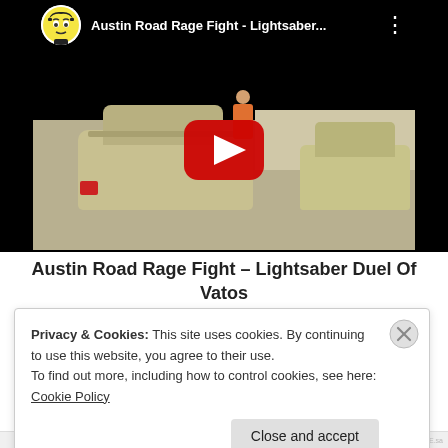[Figure (screenshot): YouTube video thumbnail showing a road rage fight between cars, with play button overlay. Video title: Austin Road Rage Fight - Lightsaber... with a cartoon avatar icon and three-dot menu.]
Austin Road Rage Fight – Lightsaber Duel Of Vatos
Privacy & Cookies: This site uses cookies. By continuing to use this website, you agree to their use. To find out more, including how to control cookies, see here: Cookie Policy
Close and accept